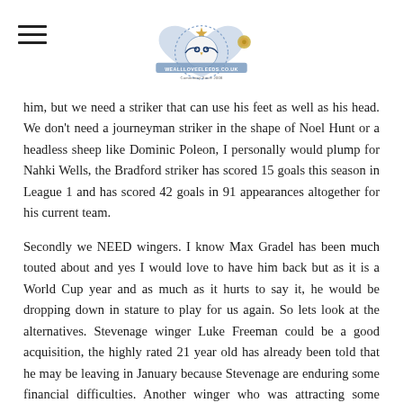WEALLLOVEELEEDS.CO.UK
him, but we need a striker that can use his feet as well as his head. We don't need a journeyman striker in the shape of Noel Hunt or a headless sheep like Dominic Poleon, I personally would plump for Nahki Wells, the Bradford striker has scored 15 goals this season in League 1 and has scored 42 goals in 91 appearances altogether for his current team.
Secondly we NEED wingers. I know Max Gradel has been much touted about and yes I would love to have him back but as it is a World Cup year and as much as it hurts to say it, he would be dropping down in stature to play for us again. So lets look at the alternatives. Stevenage winger Luke Freeman could be a good acquisition, the highly rated 21 year old has already been told that he may be leaving in January because Stevenage are enduring some financial difficulties. Another winger who was attracting some attention in